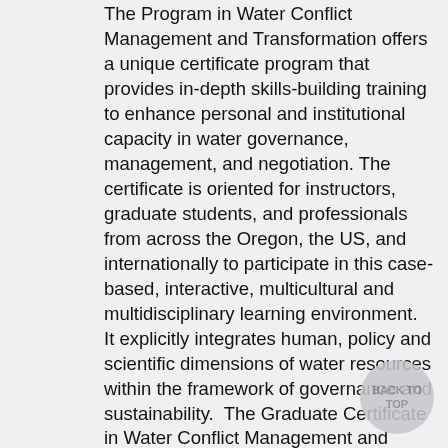The Program in Water Conflict Management and Transformation offers a unique certificate program that provides in-depth skills-building training to enhance personal and institutional capacity in water governance, management, and negotiation. The certificate is oriented for instructors, graduate students, and professionals from across the Oregon, the US, and internationally to participate in this case-based, interactive, multicultural and multidisciplinary learning environment.  It explicitly integrates human, policy and scientific dimensions of water resources within the framework of governance and sustainability.  The Graduate Certificate in Water Conflict Management and Transformation is also offered through OSU Extended-Campus and can be completed online. The links to the right provide more information about the certificate, which can be completed on-campus or online.  Learn more about the online certificate program.